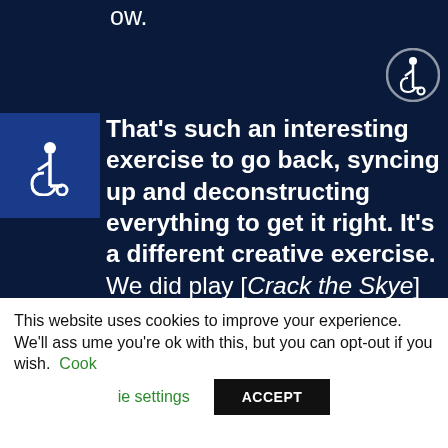ow.
[Figure (illustration): Accessibility icon (wheelchair symbol) in a blue square]
That's such an interesting exercise to go back, syncing up and deconstructing everything to get it right. It's a different creative exercise. We did play [Crack the Skye] front-to-back back in 2010, I think it was. We brought a keyboardist out with us to play a lot of those parts, and we also used the sampler—[which is] what I call it, a machine I have that I control with my feet. It plays a lot of the ambient sounds and in-between song stuff. But if we were to brin
This website uses cookies to improve your experience. We'll assume you're ok with this, but you can opt-out if you wish. Cookie settings ACCEPT